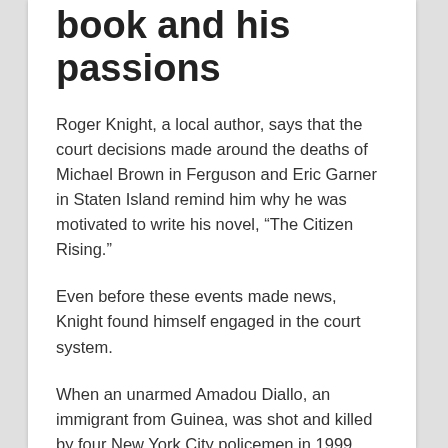book and his passions
Roger Knight, a local author, says that the court decisions made around the deaths of Michael Brown in Ferguson and Eric Garner in Staten Island remind him why he was motivated to write his novel, “The Citizen Rising.”
Even before these events made news, Knight found himself engaged in the court system.
When an unarmed Amadou Diallo, an immigrant from Guinea, was shot and killed by four New York City policemen in 1999, Knight wanted to bring his son to watch the trial.
[Figure (photo): Photo showing several people from behind, appearing to be in a meeting or classroom setting]